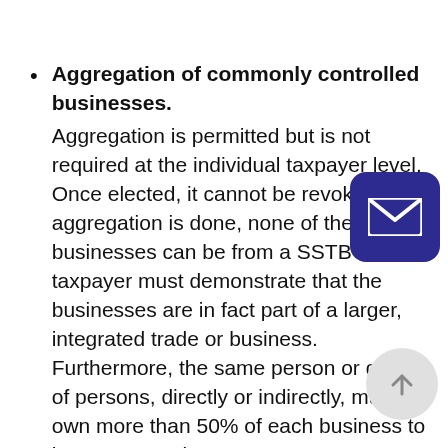Aggregation of commonly controlled businesses. Aggregation is permitted but is not required at the individual taxpayer level. Once elected, it cannot be revoked. If aggregation is done, none of the businesses can be from a SSTB and the taxpayer must demonstrate that the businesses are in fact part of a larger, integrated trade or business. Furthermore, the same person or group of persons, directly or indirectly, must own more than 50% of each business to be aggregated.